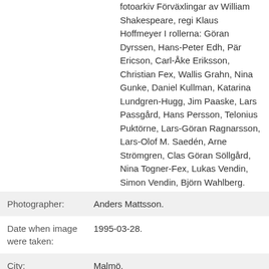fotoarkiv Förväxlingar av William Shakespeare, regi Klaus Hoffmeyer I rollerna: Göran Dyrssen, Hans-Peter Edh, Pär Ericson, Carl-Åke Eriksson, Christian Fex, Wallis Grahn, Nina Gunke, Daniel Kullman, Katarina Lundgren-Hugg, Jim Paaske, Lars Passgård, Hans Persson, Telonius Puktörne, Lars-Göran Ragnarsson, Lars-Olof M. Saedén, Arne Strömgren, Clas Göran Söllgård, Nina Togner-Fex, Lukas Vendin, Simon Vendin, Björn Wahlberg.
| Photographer: | Anders Mattsson. |
| Date when image were taken: | 1995-03-28. |
| City: | Malmö. |
| Keywords: | konst , boll , Malmö stadsteater , skådespelare , scen , skådespel |